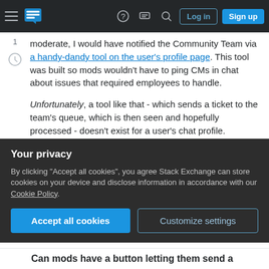Stack Exchange navigation bar with Log in and Sign up buttons
moderate, I would have notified the Community Team via a handy-dandy tool on the user's profile page. This tool was built so mods wouldn't have to ping CMs in chat about issues that required employees to handle.

Unfortunately, a tool like that - which sends a ticket to the team's queue, which is then seen and hopefully processed - doesn't exist for a user's chat profile. Moreover, as the person is not active on any site I moderate, I couldn't use the contact tool I
Your privacy

By clicking "Accept all cookies", you agree Stack Exchange can store cookies on your device and disclose information in accordance with our Cookie Policy.

Accept all cookies   Customize settings
Can mods have a button letting them send a